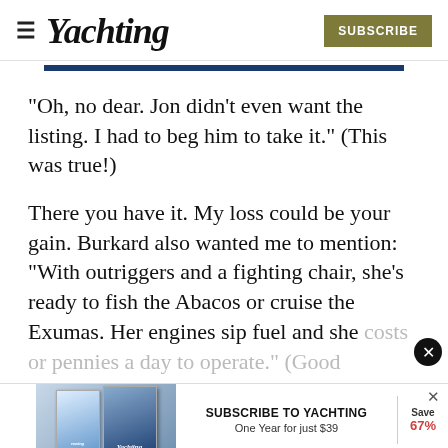Yachting | SUBSCRIBE
“Oh, no dear. Jon didn’t even want the listing. I had to beg him to take it.” (This was true!)
There you have it. My loss could be your gain. Burkard also wanted me to mention: “With outriggers and a fighting chair, she’s ready to fish the Abacos or cruise the Exumas. Her engines sip fuel and she costs or pennies a day to operate.” (Good God demanding yachtsmen (that could be you)
[Figure (screenshot): Subscribe to Yachting advertisement banner showing magazine covers and text: SUBSCRIBE TO YACHTING One Year for just $39, Save 67%]